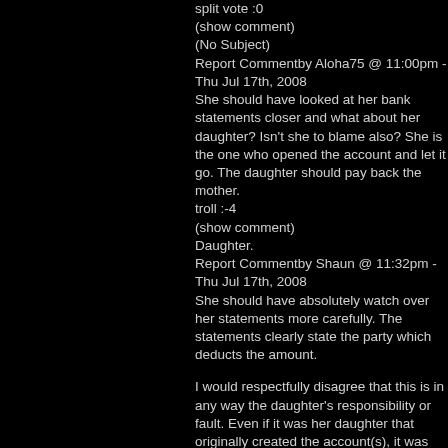split vote :0
(show comment)
(No Subject)
Report Commentby Aloha75 @ 11:00pm - Thu Jul 17th, 2008
She should have looked at her bank statements closer and what about her daughter? Isn't she to blame also? She is the one who opened the account and let it go. The daughter should pay back the mother.
troll :-4
(show comment)
Daughter.
Report Commentby Shaun @ 11:32pm - Thu Jul 17th, 2008
She should have absolutely watch over her statements more carefully. The statements clearly state the party which deducts the amount.
I would respectfully disagree that this is in any way the daughter's responsibility or fault. Even if it was her daughter that originally created the account(s), it was most definitely the owner of the account which should have watched over